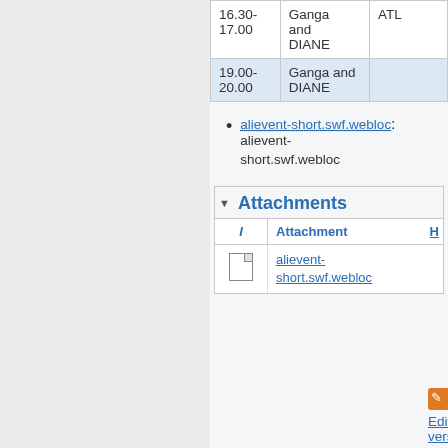| Time | Session |  |
| --- | --- | --- |
| 16.30-17.00 | Ganga and DIANE | ATL |
| 19.00-20.00 | Ganga and DIANE |  |
alievent-short.swf.webloc: alievent-short.swf.webloc
Attachments
| I | Attachment | H |
| --- | --- | --- |
| [icon] | alievent-short.swf.webloc |  |
Edit | Attach | Watch | Print version | History: